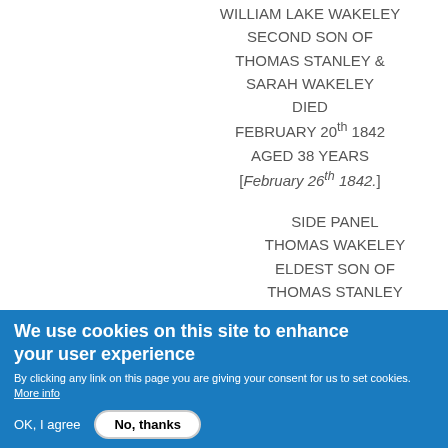WILLIAM LAKE WAKELEY SECOND SON OF THOMAS STANLEY & SARAH WAKELEY DIED FEBRUARY 20th 1842 AGED 38 YEARS [February 26th 1842.]
SIDE PANEL THOMAS WAKELEY ELDEST SON OF THOMAS STANLEY
We use cookies on this site to enhance your user experience
By clicking any link on this page you are giving your consent for us to set cookies. More info
OK, I agree   No, thanks